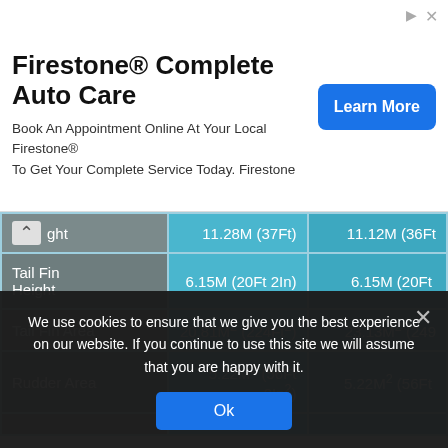[Figure (other): Firestone Complete Auto Care advertisement banner with Learn More button]
|  | Col 1 | Col 2 |
| --- | --- | --- |
| [↑] ght | 11.28M (37Ft) | 11.12M (36Ft… |
| Tail Fin Height | 6.15M (20Ft 2In) | 6.15M (20Ft … |
| Tail Fin Area | 20.81M² (224Ft²) | 23.13M² (249… |
| Rudder Area | 5.22M² (56Ft 2In²) | 5.22M² (56Ft … |
We use cookies to ensure that we give you the best experience on our website. If you continue to use this site we will assume that you are happy with it.